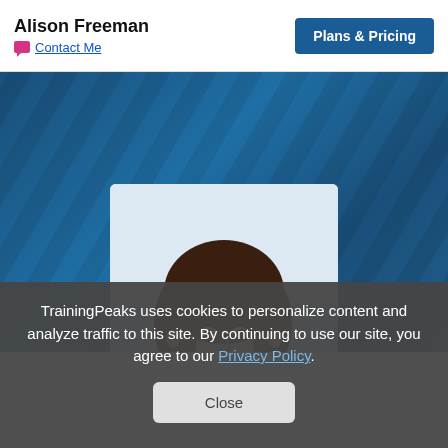Alison Freeman
Contact Me
Plans & Pricing
[Figure (photo): Portrait photo of Alison Freeman, a woman with curly dark brown hair, photographed against a light sky background, displayed in a rounded-corner card over a dark blue striped background.]
TrainingPeaks uses cookies to personalize content and analyze traffic to this site. By continuing to use our site, you agree to our Privacy Policy.
Close